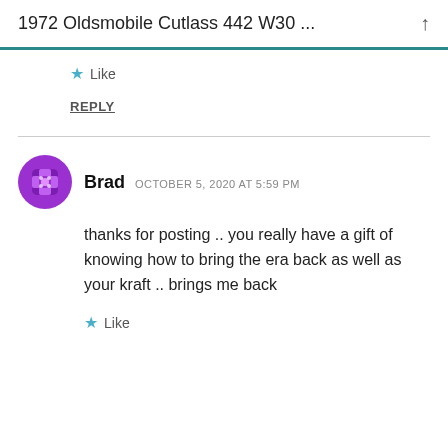1972 Oldsmobile Cutlass 442 W30 ...
Like
REPLY
Brad  OCTOBER 5, 2020 AT 5:59 PM
thanks for posting .. you really have a gift of knowing how to bring the era back as well as your kraft .. brings me back
Like